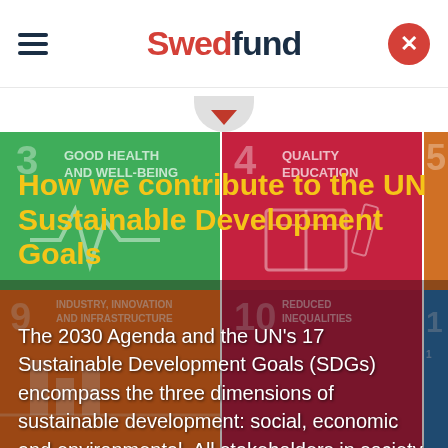Swedfund
[Figure (illustration): UN Sustainable Development Goals tile mosaic background showing SDG icons including Goal 3 Good Health and Well-Being, Goal 4 Quality Education, and others in green, dark red/wine, and orange tiles]
How we contribute to the UN Sustainable Development Goals
The 2030 Agenda and the UN's 17 Sustainable Development Goals (SDGs) encompass the three dimensions of sustainable development: social, economic and environmental. All stakeholders in society have to take responsibility and an active approach to ensure these goals can be achieved. Here you can find out about how Swedfund works with the SDGs to contribute to a sustainable development.